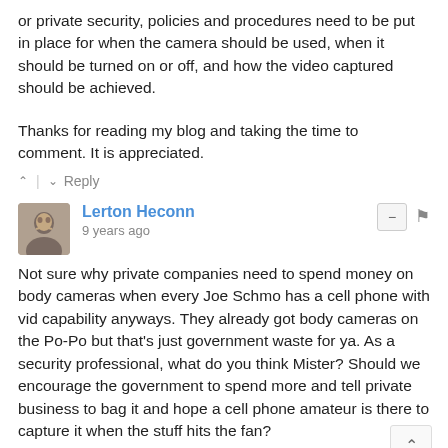or private security, policies and procedures need to be put in place for when the camera should be used, when it should be turned on or off, and how the video captured should be achieved.
Thanks for reading my blog and taking the time to comment. It is appreciated.
^ | v Reply
Lerton Heconn
9 years ago
Not sure why private companies need to spend money on body cameras when every Joe Schmo has a cell phone with vid capability anyways. They already got body cameras on the Po-Po but that's just government waste for ya. As a security professional, what do you think Mister? Should we encourage the government to spend more and tell private business to bag it and hope a cell phone amateur is there to capture it when the stuff hits the fan?
^ | v Reply